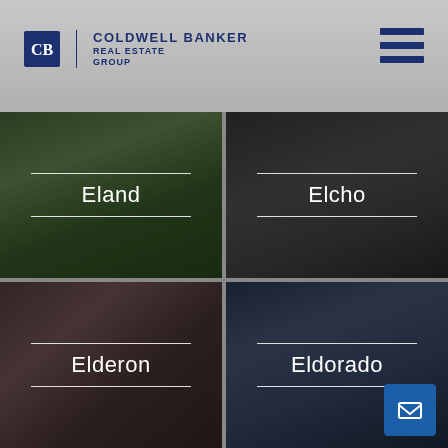[Figure (logo): Coldwell Banker Real Estate Group logo with hamburger menu icon on the right]
[Figure (photo): Card with outdoor garden/landscaping photo overlay labeled Eland]
[Figure (photo): Card with house exterior/porch photo overlay labeled Elcho]
[Figure (photo): Card with people/dog photo overlay labeled Elderon]
[Figure (photo): Card with house exterior at dusk photo overlay labeled Eldorado]